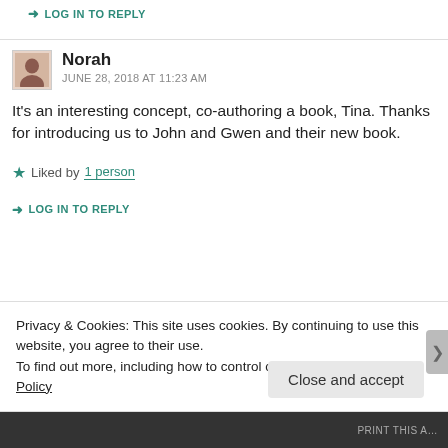➜ LOG IN TO REPLY
Norah
JUNE 28, 2018 AT 11:23 AM
It's an interesting concept, co-authoring a book, Tina. Thanks for introducing us to John and Gwen and their new book.
★ Liked by 1 person
➜ LOG IN TO REPLY
Privacy & Cookies: This site uses cookies. By continuing to use this website, you agree to their use.
To find out more, including how to control cookies, see here: Cookie Policy
Close and accept